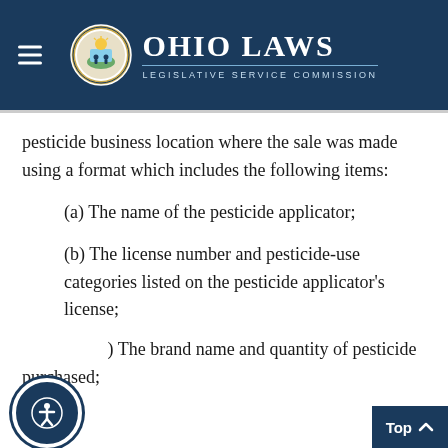Ohio Laws - Legislative Service Commission
pesticide business location where the sale was made using a format which includes the following items:
(a) The name of the pesticide applicator;
(b) The license number and pesticide-use categories listed on the pesticide applicator's license;
(c) The brand name and quantity of pesticide purchased;